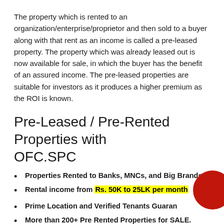The property which is rented to an organization/enterprise/proprietor and then sold to a buyer along with that rent as an income is called a pre-leased property. The property which was already leased out is now available for sale, in which the buyer has the benefit of an assured income. The pre-leased properties are suitable for investors as it produces a higher premium as the ROI is known.
Pre-Leased / Pre-Rented Properties with OFC.SPC
Properties Rented to Banks, MNCs, and Big Brands.
Rental income from Rs. 50K to 25LK per month
Prime Location and Verified Tenants Guaranteed
More than 200+ Pre Rented Properties for SALE.